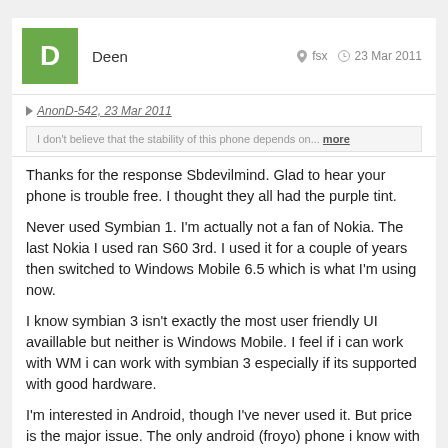Deen   fsx   23 Mar 2011
AnonD-542, 23 Mar 2011
I don't believe that the stability of this phone depends on... more
Thanks for the response Sbdevilmind. Glad to hear your phone is trouble free. I thought they all had the purple tint.
Never used Symbian 1. I'm actually not a fan of Nokia. The last Nokia I used ran S60 3rd. I used it for a couple of years then switched to Windows Mobile 6.5 which is what I'm using now.
I know symbian 3 isn't exactly the most user friendly UI availlable but neither is Windows Mobile. I feel if i can work with WM i can work with symbian 3 especially if its supported with good hardware.
I'm interested in Android, though I've never used it. But price is the major issue. The only android (froyo) phone i know with similar capabilities to C7 is 'HTC Desire HD' which costs almost twice the price of a C7 where i live.